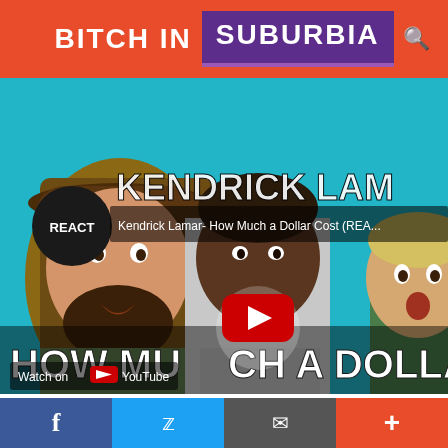BITCH IN SUBURBIA
[Figure (screenshot): YouTube video thumbnail for 'Kendrick Lamar - How Much a Dollar Cost (REACT)' showing three people reacting with text overlaid, a YouTube play button in the center, and 'Watch on YouTube' in the lower left. Large text reads 'HOW MUCH A DOLLAR' at the bottom.]
So if you see pimpin' for the Home Is Where the Dark Is
[Figure (infographic): Bottom social share bar with Facebook, Twitter, Email/envelope, and Plus buttons]